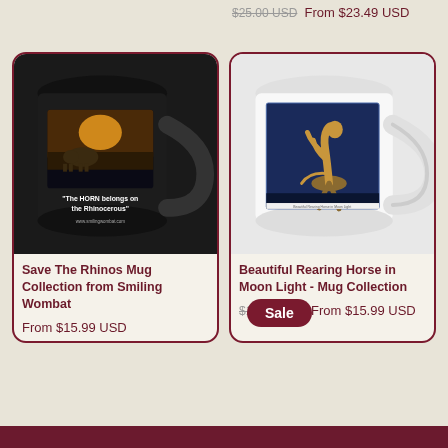$25.00 USD  From $23.49 USD
[Figure (photo): Black ceramic mug with rhinoceros artwork and text 'The HORN belongs on the Rhinoceros']
[Figure (photo): White ceramic mug with rearing horse in moonlight artwork, Sale badge]
Save The Rhinos Mug Collection from Smiling Wombat
From $15.99 USD
Beautiful Rearing Horse in Moon Light - Mug Collection
$18.00 USD  From $15.99 USD